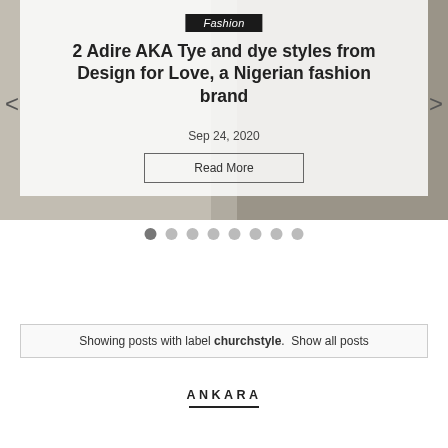[Figure (screenshot): Fashion blog slider showing two models in Nigerian fashion (Adire/Tye and dye styles), with a semi-transparent overlay panel containing article title, date, and Read More button. Navigation arrows on left and right sides.]
Fashion
2 Adire AKA Tye and dye styles from Design for Love, a Nigerian fashion brand
Sep 24, 2020
Read More
Showing posts with label churchstyle.  Show all posts
ANKARA